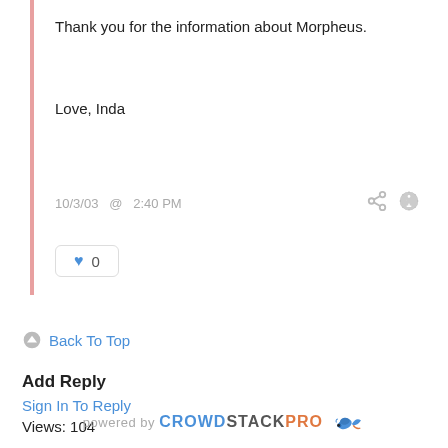Thank you for the information about Morpheus.
Love, Inda
10/3/03  @  2:40 PM
♥ 0
Back To Top
Add Reply
Sign In To Reply
Views: 104
powered by CROWDSTACKPRO